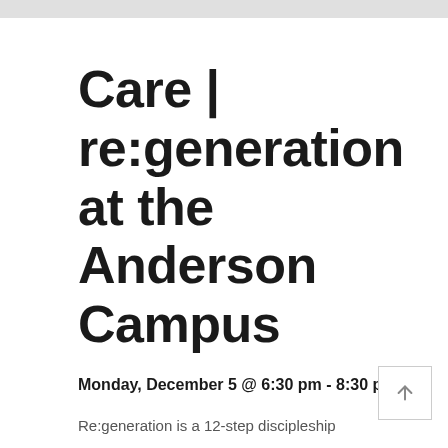Care | re:generation at the Anderson Campus
Monday, December 5 @ 6:30 pm - 8:30 pm
Re:generation is a 12-step discipleship